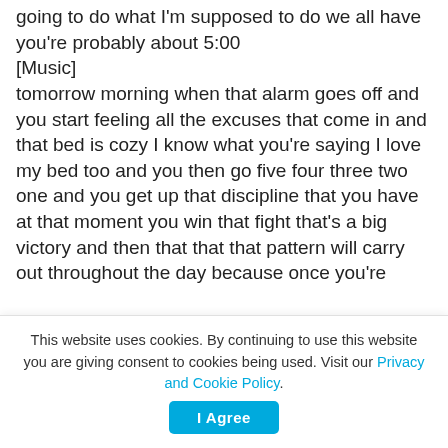going to do what I'm supposed to do we all have you're probably about 5:00 [Music] tomorrow morning when that alarm goes off and you start feeling all the excuses that come in and that bed is cozy I know what you're saying I love my bed too and you then go five four three two one and you get up that discipline that you have at that moment you win that fight that's a big victory and then that that that pattern will carry out throughout the day because once you're
This website uses cookies. By continuing to use this website you are giving consent to cookies being used. Visit our Privacy and Cookie Policy.